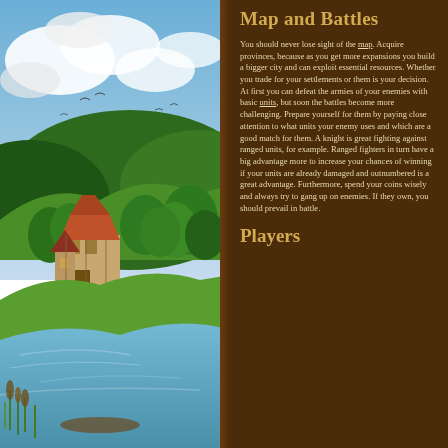[Figure (illustration): Fantasy landscape painting showing a riverside village scene with a half-timbered house, lush green trees, rolling hills, blue sky with clouds, and a calm river in the foreground with reeds.]
Map and Battles
You should never lose sight of the map. Acquire provinces, because as you get more expansions you build a bigger city and can exploit essential resources. Whether you trade for your settlements or them is your decision. At first you can defeat the armies of your enemies with basic units, but soon the battles become more challenging. Prepare yourself for them by paying close attention to what units your enemy uses and which are a good match for them. A knight is great fighting against ranged units, for example. Ranged fighters in turn have a big advantage more to increase your chances of winning if your units are already damaged and outnumbered is a great advantage. Furthermore, spend your coins wisely and always try to gang up on enemies. If they own, you should prevail in battle.
Players